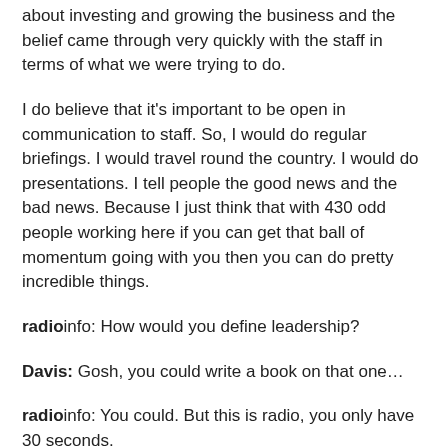about investing and growing the business and the belief came through very quickly with the staff in terms of what we were trying to do.
I do believe that it's important to be open in communication to staff. So, I would do regular briefings. I would travel round the country. I would do presentations. I tell people the good news and the bad news. Because I just think that with 430 odd people working here if you can get that ball of momentum going with you then you can do pretty incredible things.
radioinfo: How would you define leadership?
Davis: Gosh, you could write a book on that one…
radioinfo: You could. But this is radio, you only have 30 seconds.